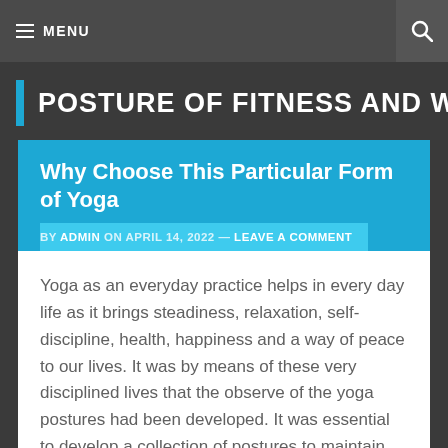≡ MENU
POSTURE OF FITNESS AND WEIGHT
Why Choose This Particular Form of Yoga
BY ADMIN ON APRIL 14, 2022 — LEAVE A COMMENT
Yoga as an everyday practice helps in every day life as it brings steadiness, relaxation, self-discipline, health, happiness and a way of peace to our lives. It was by means of these very disciplined lives that the observe of the yoga postures had been developed. It was essential to develop a collection of postures to maintain the body